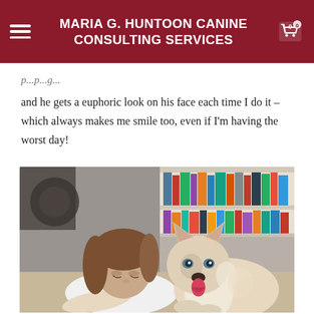MARIA G. HUNTOON CANINE CONSULTING SERVICES
and he gets a euphoric look on his face each time I do it – which always makes me smile too, even if I'm having the worst day!
[Figure (photo): A young woman with short brown hair lying on the floor face-to-face with a fluffy Siberian Husky puppy that has its tongue out. Behind them is a white bookshelf filled with colorful books.]